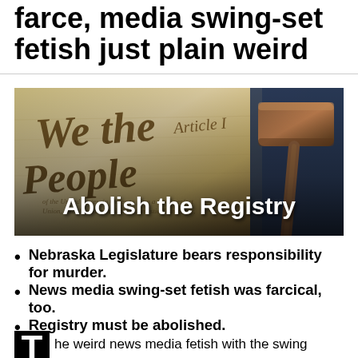farce, media swing-set fetish just plain weird
[Figure (photo): Background image of the US Constitution with cursive script 'We the People' visible, overlaid with a wooden gavel on the right side, and white bold text 'Abolish the Registry' overlaid at the bottom center.]
Nebraska Legislature bears responsibility for murder.
News media swing-set fetish was farcical, too.
Registry must be abolished.
The weird news media fetish with the swing